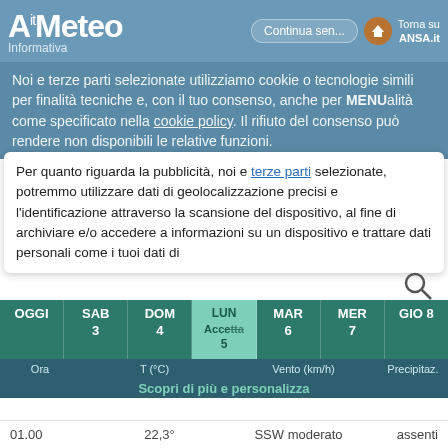Ait Meteo - Informativa
Noi e terze parti selezionate utilizziamo cookie o tecnologie simili per finalità tecniche e, con il tuo consenso, anche per altre finalità come specificato nella cookie policy. Il rifiuto del consenso può rendere non disponibili le relative funzioni.
MENU
Per quanto riguarda la pubblicità, noi e terze parti selezionate, potremmo utilizzare dati di geolocalizzazione precisi e l'identificazione attraverso la scansione del dispositivo, al fine di archiviare e/o accedere a informazioni su un dispositivo e trattare dati personali come i tuoi dati di interesse per le seguenti finalità pubblicitarie: annunci e contenuti personalizzati, valutazione degli annunci e del contenuto, osservazioni del pubblico e sviluppo di prodotti. Puoi liberamente prestare, rifiutare o revocare il tuo consenso, in qualsiasi momento, accedendo al pannello delle
Previsioni Appleton al 233 metri s.l.m.
Vuoi consultare le previsioni ora per ora? Clicca Qui
| OGGI | SAB 3 | DOM 4 | LUN 5 | MAR 6 | MER 7 | GIO 8 |
| --- | --- | --- | --- | --- | --- | --- |
| Ora | T (°C) | Vento (km/h) | Precipitaz. |
| Scopri di più e personalizza |  |  |  |
| 01.00 | 22,3° | SSW moderato | assenti |